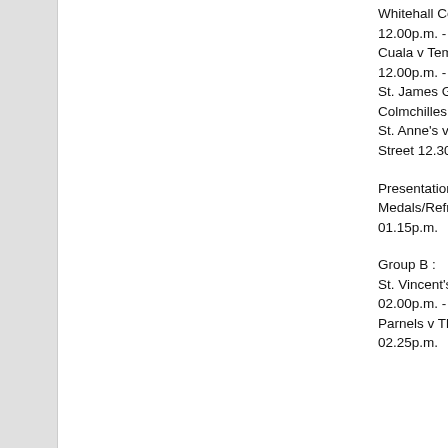Whitehall Colmchilles v St. Anne's 12.00p.m. - 12.25p.m.
Cuala v Templeogue/Synge Street 12.00p.m. - 12.25p.m.
St. James Gaels v Whitehall Colmchilles 12.30p.m. - 12.55p.m.
St. Anne's v Templeogue/Synge Street 12.30p.m. - 12.55p.m.
Presentation Of Commemorative Medals/Refreshments 01.00p.m. - 01.15p.m.
Group B :
St. Vincent's v Castleknock 02.00p.m. - 02.25p.m.
Parnels v Thomas Davis 02.00p.m. - 02.25p.m.